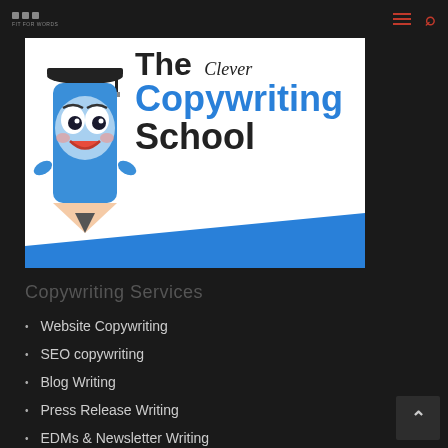Navigation header with logo and menu/search icons
[Figure (illustration): The Clever Copywriting School banner logo featuring an animated pencil mascot wearing a graduation cap, with blue text 'Copywriting' and dark text 'The', 'School', and italic 'Clever' handwritten style text. Blue diagonal stripe at bottom.]
Copywriting Services
Website Copywriting
SEO copywriting
Blog Writing
Press Release Writing
EDMs & Newsletter Writing